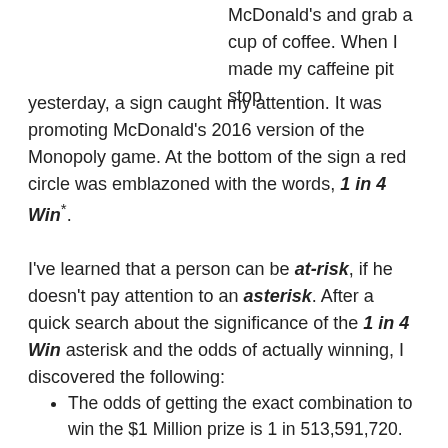McDonald's and grab a cup of coffee.  When I made my caffeine pit stop yesterday, a sign caught my attention.  It was promoting McDonald's 2016 version of the Monopoly game.  At the bottom of the sign a red circle was emblazoned with the words, 1 in 4 Win*.
I've learned that a person can be at-risk, if he doesn't pay attention to an asterisk.  After a quick search about the significance of the 1 in 4 Win asterisk and the odds of actually winning, I discovered the following:
The odds of getting the exact combination to win the $1 Million prize is 1 in 513,591,720.
The odds of winning one of the instant cash